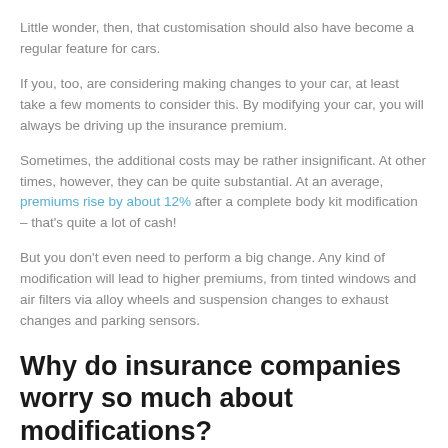Little wonder, then, that customisation should also have become a regular feature for cars.
If you, too, are considering making changes to your car, at least take a few moments to consider this. By modifying your car, you will always be driving up the insurance premium.
Sometimes, the additional costs may be rather insignificant. At other times, however, they can be quite substantial. At an average, premiums rise by about 12% after a complete body kit modification – that's quite a lot of cash!
But you don't even need to perform a big change. Any kind of modification will lead to higher premiums, from tinted windows and air filters via alloy wheels and suspension changes to exhaust changes and parking sensors.
Why do insurance companies worry so much about modifications?